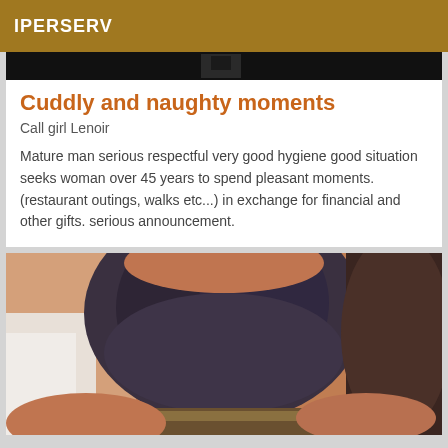IPERSERV
[Figure (photo): Dark partial image strip at top, appears to be a cropped photo background]
Cuddly and naughty moments
Call girl Lenoir
Mature man serious respectful very good hygiene good situation seeks woman over 45 years to spend pleasant moments. (restaurant outings, walks etc...) in exchange for financial and other gifts. serious announcement.
[Figure (photo): Photo of a woman wearing a dark lace bra/top, close-up torso shot]